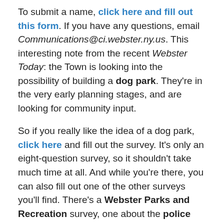To submit a name, click here and fill out this form. If you have any questions, email Communications@ci.webster.ny.us. This interesting note from the recent Webster Today: the Town is looking into the possibility of building a dog park. They're in the very early planning stages, and are looking for community input.
So if you really like the idea of a dog park, click here and fill out the survey. It's only an eight-question survey, so it shouldn't take much time at all. And while you're there, you can also fill out one of the other surveys you'll find. There's a Webster Parks and Recreation survey, one about the police department, and another about community sewers.
Finally, this actually came across my Twitter feed and